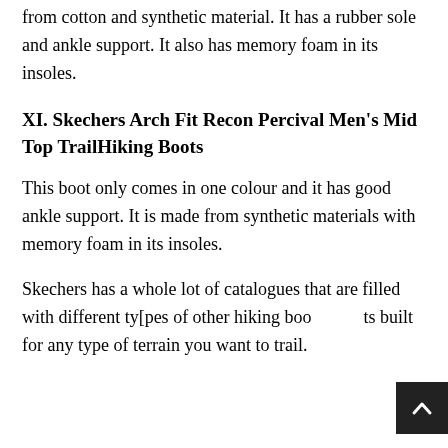from cotton and synthetic material. It has a rubber sole and ankle support. It also has memory foam in its insoles.
XI. Skechers Arch Fit Recon Percival Men's Mid Top TrailHiking Boots
This boot only comes in one colour and it has good ankle support. It is made from synthetic materials with memory foam in its insoles.
Skechers has a whole lot of catalogues that are filled with different ty[pes of other hiking boots built for any type of terrain you want to trail.